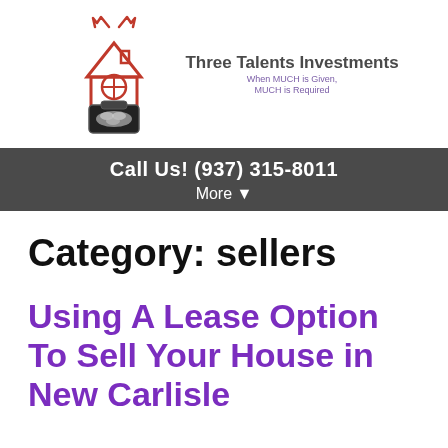[Figure (logo): Three Talents Investments logo with house outline in red, money briefcase, and deer antlers. Text reads 'Three Talents Investments' with tagline 'When MUCH is Given, MUCH is Required']
Call Us! (937) 315-8011
More ▼
Category: sellers
Using A Lease Option To Sell Your House in New Carlisle